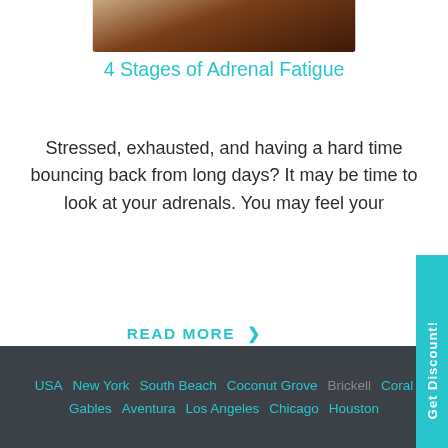[Figure (photo): Partial photo of a person, cropped at top, showing dark brown tones, likely hair or skin]
4 Stages of Adrenal Fatigue
Stressed, exhausted, and having a hard time bouncing back from long days? It may be time to look at your adrenals. You may feel your
READ MORE ›
prev
next
USA  New York  South Beach  Coconut Grove  Brickell  Coral Gables  Aventura  Los Angeles  Chicago  Houston